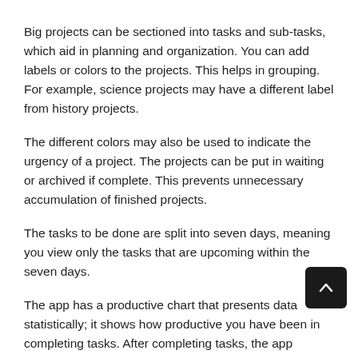Big projects can be sectioned into tasks and sub-tasks, which aid in planning and organization. You can add labels or colors to the projects. This helps in grouping. For example, science projects may have a different label from history projects.
The different colors may also be used to indicate the urgency of a project. The projects can be put in waiting or archived if complete. This prevents unnecessary accumulation of finished projects.
The tasks to be done are split into seven days, meaning you view only the tasks that are upcoming within the seven days.
The app has a productive chart that presents data statistically; it shows how productive you have been in completing tasks. After completing tasks, the app